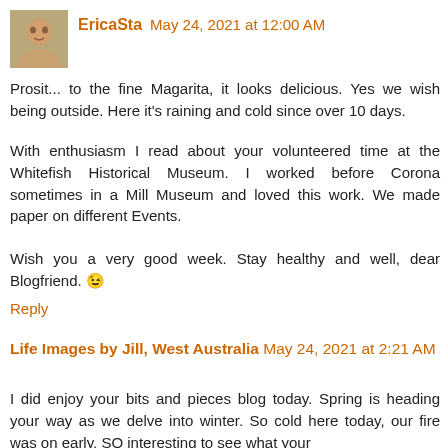[Figure (photo): Small square avatar photo of a woman]
EricaSta May 24, 2021 at 12:00 AM
Prosit... to the fine Magarita, it looks delicious. Yes we wish being outside. Here it's raining and cold since over 10 days.

With enthusiasm I read about your volunteered time at the Whitefish Historical Museum. I worked before Corona sometimes in a Mill Museum and loved this work. We made paper on different Events.

Wish you a very good week. Stay healthy and well, dear Blogfriend. 🙂
Reply
Life Images by Jill, West Australia May 24, 2021 at 2:21 AM
I did enjoy your bits and pieces blog today. Spring is heading your way as we delve into winter. So cold here today, our fire was on early. SO interesting to see what your